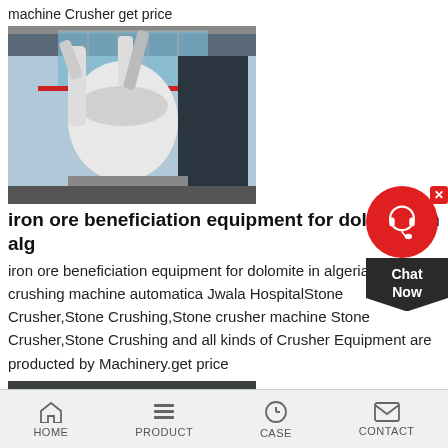machine Crusher get price
[Figure (photo): Industrial milling/grinding machine with white pipes and cylindrical equipment inside a factory building with glass roof]
iron ore beneficiation equipment for dolomite in alg
iron ore beneficiation equipment for dolomite in algeria_stone crushing machine automatica Jwala HospitalStone Crusher,Stone Crushing,Stone crusher machine Stone Crusher,Stone Crushing and all kinds of Crusher Equipment are producted by Machinery.get price
[Figure (photo): Industrial ball mill or grinding equipment in teal/green color inside a factory, with yellow safety barriers]
HOME   PRODUCT   CASE   CONTACT